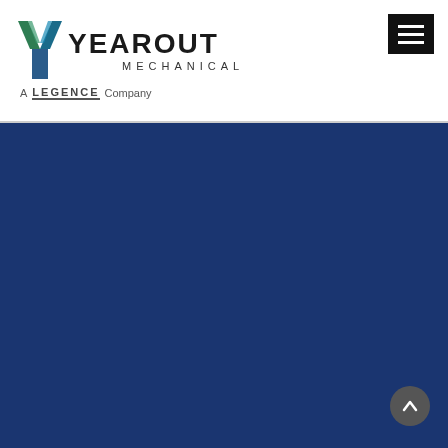[Figure (logo): Yearout Mechanical logo with stylized Y mark in green and blue, company name YEAROUT MECHANICAL, subtitle A LEGENCE Company]
[Figure (other): Dark navy blue background section filling lower portion of page]
[Figure (other): Scroll-to-top circular button in dark grey at bottom right corner]